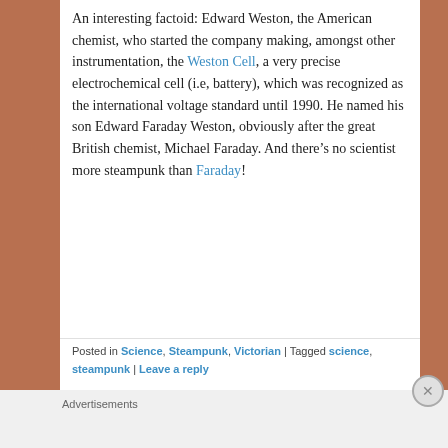An interesting factoid: Edward Weston, the American chemist, who started the company making, amongst other instrumentation, the Weston Cell, a very precise electrochemical cell (i.e, battery), which was recognized as the international voltage standard until 1990. He named his son Edward Faraday Weston, obviously after the great British chemist, Michael Faraday. And there's no scientist more steampunk than Faraday!
Posted in Science, Steampunk, Victorian | Tagged science, steampunk | Leave a reply
Advertisements